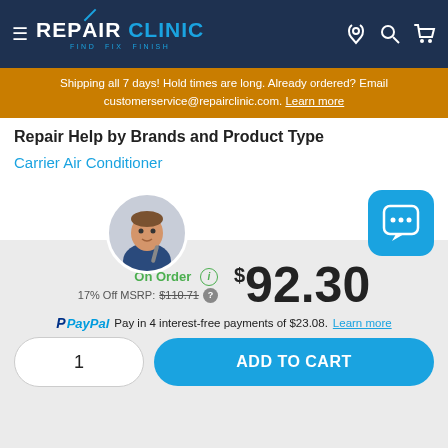REPAIR CLINIC — FIND. FIX. FINISH.
Shipping all 7 days! Hold times are long. Already ordered? Email customerservice@repairclinic.com. Learn more
Repair Help by Brands and Product Type
Carrier Air Conditioner
On Order
17% Off MSRP: $110.71
$92.30
PayPal Pay in 4 interest-free payments of $23.08. Learn more
1
ADD TO CART